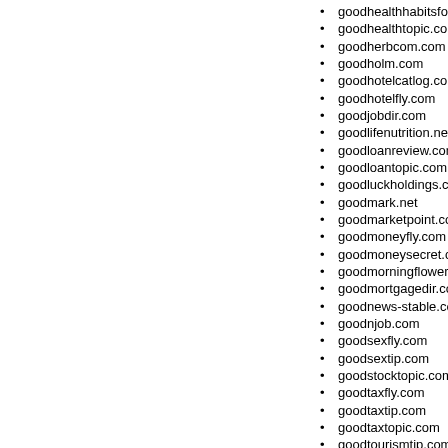goodhealthhabitsforlife.net
goodhealthtopic.com
goodherbcom.com
goodholm.com
goodhotelcatlog.com
goodhotelfly.com
goodjobdir.com
goodlifenutrition.net
goodloanreview.com
goodloantopic.com
goodluckholdings.com
goodmark.net
goodmarketpoint.com
goodmoneyfly.com
goodmoneysecret.com
goodmorningflower.com
goodmortgagedir.com
goodnews-stable.com
goodnjob.com
goodsexfly.com
goodsextip.com
goodstocktopic.com
goodtaxfly.com
goodtaxtip.com
goodtaxtopic.com
goodtourismtip.com
goodtourismtips.com
goodtraveltip.com